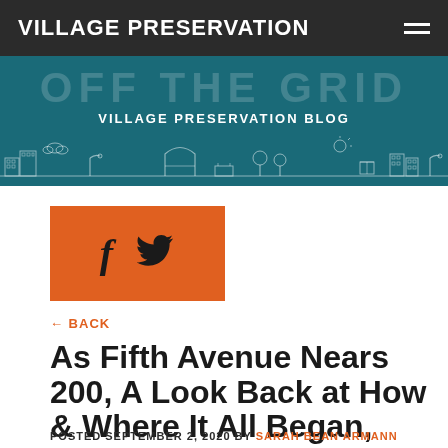VILLAGE PRESERVATION
[Figure (illustration): Village Preservation Blog banner with teal background, cityscape/skyline icon illustrations, and large text reading 'VILLAGE PRESERVATION BLOG']
[Figure (logo): Orange rectangle with Facebook 'f' icon and Twitter bird icon in black]
← BACK
As Fifth Avenue Nears 200, A Look Back at How & Where It All Began, and Celebrated 100
POSTED SEPTEMBER 2, 2020 BY SARAH BEAN ARMANN